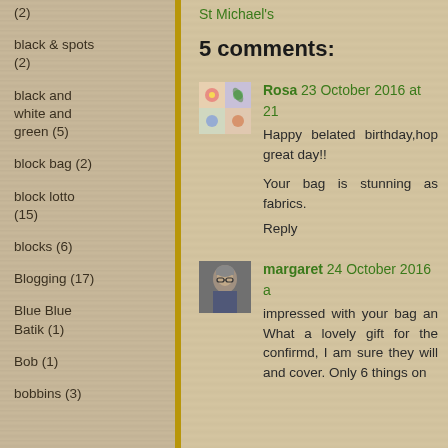(2)
black & spots (2)
black and white and green (5)
block bag (2)
block lotto (15)
blocks (6)
Blogging (17)
Blue Blue Batik (1)
Bob (1)
bobbins (3)
St Michael's
5 comments:
Rosa 23 October 2016 at 21
Happy belated birthday,hop great day!!

Your bag is stunning as fabrics.
Reply
margaret 24 October 2016 a
impressed with your bag an What a lovely gift for the confirmd, I am sure they will and cover. Only 6 things on